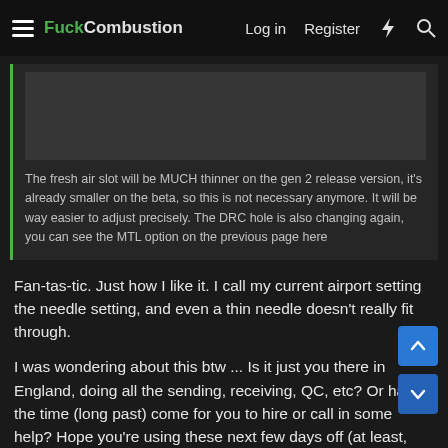FuckCombustion — Log in | Register
[Figure (screenshot): Dark forum post quote block with image placeholder area above quoted text about fresh air slot on gen 2 release version]
The fresh air slot will be MUCH thinner on the gen 2 release version, it's already smaller on the beta, so this is not necessary anymore. It will be way easier to adjust precisely. The DRC hole is also changing again, you can see the MTL option on the previous page here
Fan-tas-tic. Just how I like it. I call my current airport setting the needle setting, and even a thin needle doesn't really fit through.
I was wondering about this btw ... Is it just you there in England, doing all the sending, receiving, QC, etc? Or has the time (long past) come for you to hire or call in some help? Hope you're using these next few days off (at least, according to the MH site ..) to relax, and that you won't see this nor respond to it till after 🙂
666Honeybadger said: